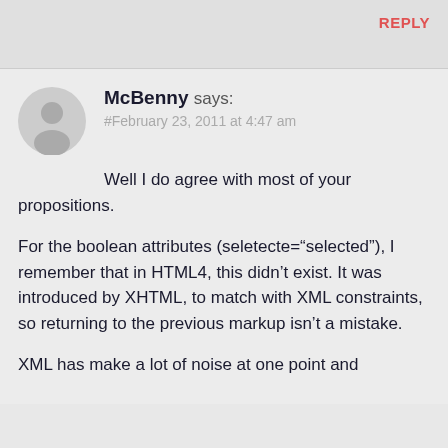REPLY
McBenny says:
#February 23, 2011 at 4:47 am
Well I do agree with most of your propositions.

For the boolean attributes (seletecte=“selected”), I remember that in HTML4, this didn’t exist. It was introduced by XHTML, to match with XML constraints, so returning to the previous markup isn’t a mistake.

XML has make a lot of noise at one point and